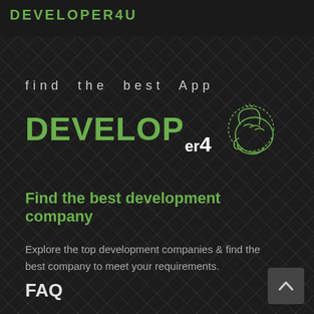DEVELOPER4U (logo header bar)
[Figure (logo): find the best App DEVELOPER4 logo with pointing hand illustration in green outline]
Find the best development company
Explore the top development companies & find the best company to meet your requirements.
FAQ